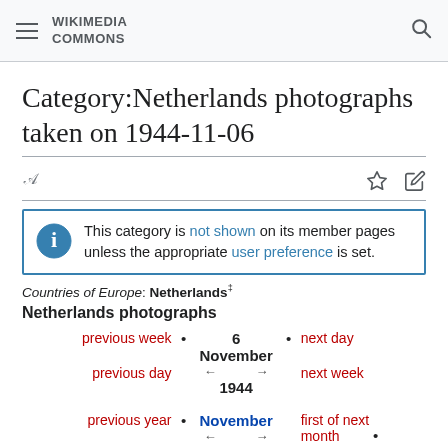WIKIMEDIA COMMONS
Category:Netherlands photographs taken on 1944-11-06
This category is not shown on its member pages unless the appropriate user preference is set.
Countries of Europe: Netherlands‡
Netherlands photographs
previous week • 6 November 1944 next day • previous day next week first of next month • previous year • November 1944 → previous month